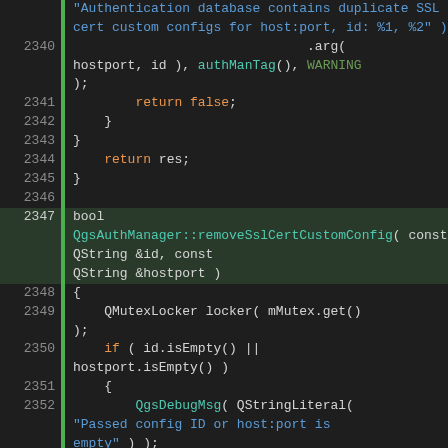[Figure (screenshot): Source code listing in a dark-themed code editor showing C++ code for QgsAuthManager class, lines 2339-2359, with syntax highlighting. Keywords in orange, strings in blue, function names in teal, and special identifiers in green.]